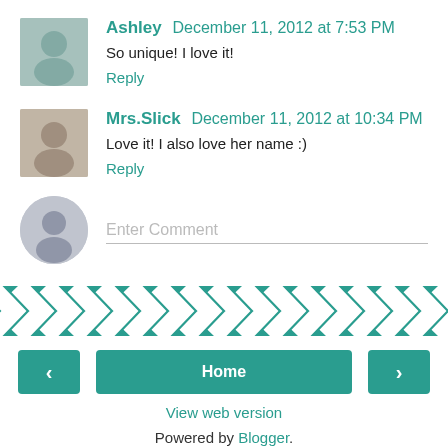Ashley December 11, 2012 at 7:53 PM
So unique! I love it!
Reply
Mrs.Slick December 11, 2012 at 10:34 PM
Love it! I also love her name :)
Reply
Enter Comment
[Figure (infographic): Teal chevron/zigzag pattern banner]
< Home >
View web version
Powered by Blogger.